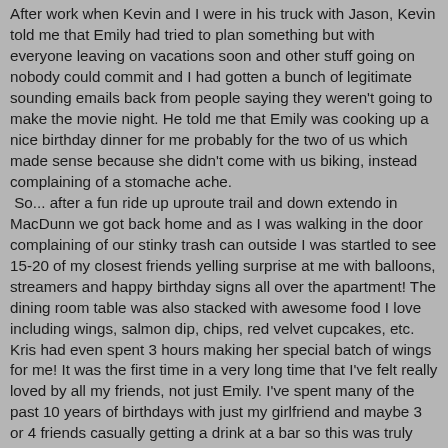After work when Kevin and I were in his truck with Jason, Kevin told me that Emily had tried to plan something but with everyone leaving on vacations soon and other stuff going on nobody could commit and I had gotten a bunch of legitimate sounding emails back from people saying they weren't going to make the movie night. He told me that Emily was cooking up a nice birthday dinner for me probably for the two of us which made sense because she didn't come with us biking, instead complaining of a stomache ache.
 So... after a fun ride up uproute trail and down extendo in MacDunn we got back home and as I was walking in the door complaining of our stinky trash can outside I was startled to see 15-20 of my closest friends yelling surprise at me with balloons, streamers and happy birthday signs all over the apartment! The dining room table was also stacked with awesome food I love including wings, salmon dip, chips, red velvet cupcakes, etc. Kris had even spent 3 hours making her special batch of wings for me! It was the first time in a very long time that I've felt really loved by all my friends, not just Emily. I've spent many of the past 10 years of birthdays with just my girlfriend and maybe 3 or 4 friends casually getting a drink at a bar so this was truly amazing for